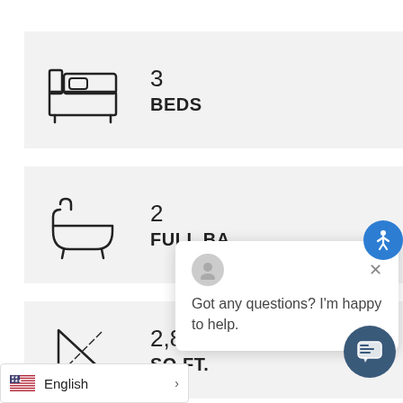[Figure (illustration): Bed icon (outline line drawing of a single bed)]
3
BEDS
[Figure (illustration): Bathtub icon (outline line drawing of a freestanding bathtub)]
2
FULL BA...
[Figure (illustration): Triangle/ruler measuring icon (outline line drawing)]
2,890
SQ.FT.
Got any questions? I'm happy to help.
English